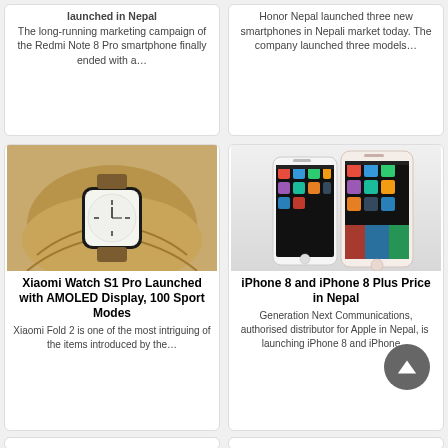launched in Nepal. The long-running marketing campaign of the Redmi Note 8 Pro smartphone finally ended with a…
Honor Nepal launched three new smartphones in Nepali market today. The company launched three models…
[Figure (photo): A person wearing a Xiaomi Watch S1 Pro smartwatch on their wrist, wearing a beige/tan jacket.]
Xiaomi Watch S1 Pro Launched with AMOLED Display, 100 Sport Modes
Xiaomi Fold 2 is one of the most intriguing of the items introduced by the…
[Figure (photo): Two iPhones (iPhone 8 and iPhone 8 Plus) displayed side by side showing their home screens.]
iPhone 8 and iPhone 8 Plus Price in Nepal
Generation Next Communications, authorised distributor for Apple in Nepal, is  launching iPhone 8 and iPhone…